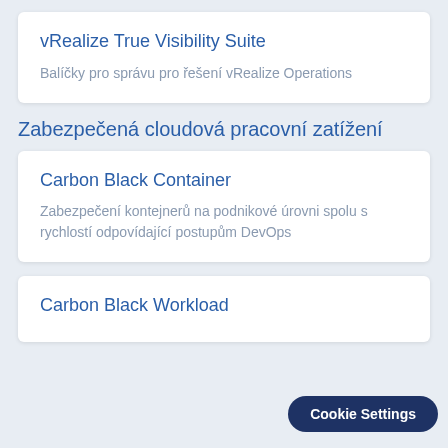vRealize True Visibility Suite
Balíčky pro správu pro řešení vRealize Operations
Zabezpečená cloudová pracovní zatížení
Carbon Black Container
Zabezpečení kontejnerů na podnikové úrovni spolu s rychlostí odpovídající postupům DevOps
Carbon Black Workload
Cookie Settings